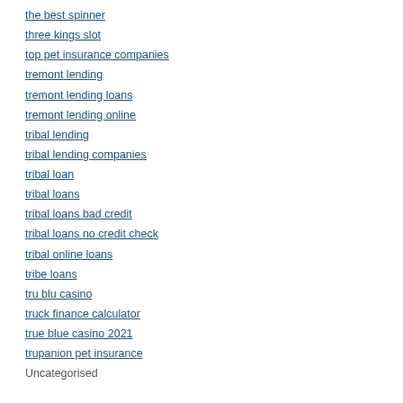the best spinner
three kings slot
top pet insurance companies
tremont lending
tremont lending loans
tremont lending online
tribal lending
tribal lending companies
tribal loan
tribal loans
tribal loans bad credit
tribal loans no credit check
tribal online loans
tribe loans
tru blu casino
truck finance calculator
true blue casino 2021
trupanion pet insurance
Uncategorised